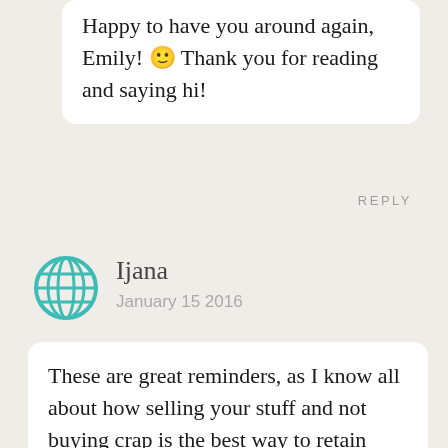Happy to have you around again, Emily! 🙂 Thank you for reading and saying hi!
REPLY
[Figure (illustration): Teal/turquoise globe icon representing a website or web commenter avatar]
Ijana
January 15 2016
These are great reminders, as I know all about how selling your stuff and not buying crap is the best way to retain money, yet somehow it's so easy to forget 😉
REPLY
[Figure (photo): Circular profile photo of a blond woman named Alex]
Alex
January 17 2016